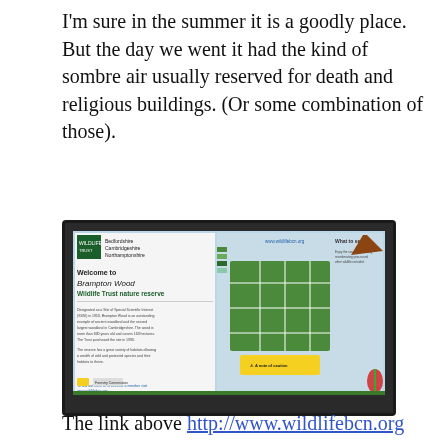I'm sure in the summer it is a goodly place. But the day we went it had the kind of sombre air usually reserved for death and religious buildings. (Or some combination of those).
[Figure (photo): A photograph of a Wildlife Trust nature reserve information sign for Brampton Wood, showing a map of the reserve, text panels, and wildlife imagery, mounted on a wooden post outdoors.]
The link above http://www.wildlifebcn.org